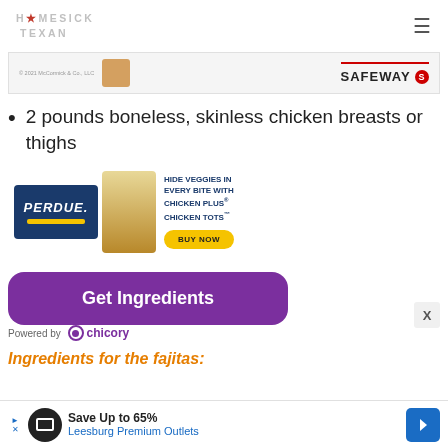HOMESICK TEXAN
[Figure (advertisement): McCormick/Safeway advertisement banner with product image and Safeway logo]
2 pounds boneless, skinless chicken breasts or thighs
[Figure (advertisement): Perdue Chicken Plus Chicken Tots advertisement — HIDE VEGGIES IN EVERY BITE WITH CHICKEN PLUS CHICKEN TOTS — BUY NOW button]
[Figure (other): Get Ingredients purple button]
Powered by chicory
Ingredients for the fajitas:
[Figure (advertisement): Bottom ad: Save Up to 65% Leesburg Premium Outlets]